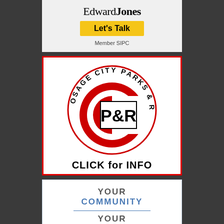[Figure (logo): Edward Jones advertisement with logo, 'Let's Talk' yellow button, and 'Member SIPC' text]
[Figure (logo): Osage City Parks & Recreation circular logo with P&R text, red border, 'CLICK for INFO' text below]
[Figure (infographic): Community foundation ad: 'YOUR COMMUNITY YOUR FOUNDATION' text with blue 'Click for Application' button]
[Figure (infographic): Think outside the box ad with large text and partial image of bird, 'CLICK for more info' in red]